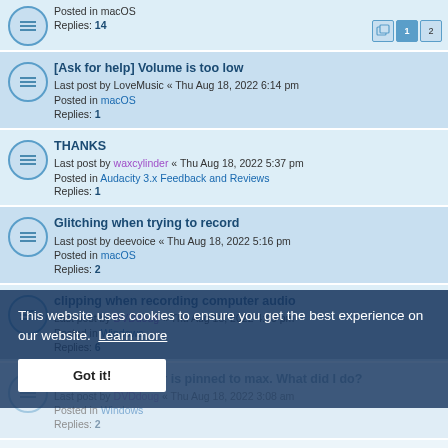Posted in macOS
Replies: 14
[Ask for help] Volume is too low
Last post by LoveMusic « Thu Aug 18, 2022 6:14 pm
Posted in macOS
Replies: 1
THANKS
Last post by waxcylinder « Thu Aug 18, 2022 5:37 pm
Posted in Audacity 3.x Feedback and Reviews
Replies: 1
Glitching when trying to record
Last post by deevoice « Thu Aug 18, 2022 5:16 pm
Posted in macOS
Replies: 2
clipping when recording computer audio
Last post by DVDdoug « Thu Aug 18, 2022 4:43 pm
Posted in Windows
Replies: 6
Record volume bar is pinned to max. What did I do?
Last post by DVDdoug « Thu Aug 18, 2022 3:08 am
Posted in Windows
Replies: 2
Immense lag and frequent crashing on Audacity 3.1.3 AppImage
Last post by TheeCGammo « Thu Aug 18, 2022 8:00 am
Posted in GNU/Linux
Replies: 2
RECORDING DOES NOT WORK (Solved)
Last post by ditanik « Thu Aug 18, 2022 3:12 am
This website uses cookies to ensure you get the best experience on our website. Learn more
Got it!